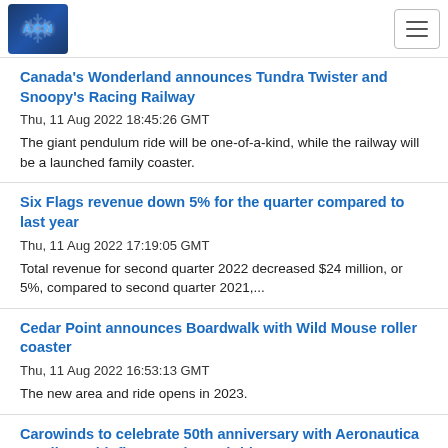ACN
Canada's Wonderland announces Tundra Twister and Snoopy's Racing Railway
Thu, 11 Aug 2022 18:45:26 GMT
The giant pendulum ride will be one-of-a-kind, while the railway will be a launched family coaster.
Six Flags revenue down 5% for the quarter compared to last year
Thu, 11 Aug 2022 17:19:05 GMT
Total revenue for second quarter 2022 decreased $24 million, or 5%, compared to second quarter 2021,...
Cedar Point announces Boardwalk with Wild Mouse roller coaster
Thu, 11 Aug 2022 16:53:13 GMT
The new area and ride opens in 2023.
Carowinds to celebrate 50th anniversary with Aeronautica Landing, with five new themed rides
Thu, 11 Aug 2022 13:58:46 GMT